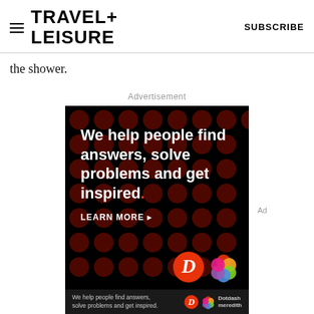TRAVEL+ LEISURE   SUBSCRIBE
the shower.
Advertisement
[Figure (illustration): Dotdash Meredith advertisement on black background with dark red dot pattern. White bold text reads: 'We help people find answers, solve problems and get inspired.' with a red period. Below: 'LEARN MORE' with arrow. Bottom right shows D logo in red circle and Dotdash Meredith colorful flower logo. Bottom bar repeats tagline with logos and 'Dotdash meredith' branding.]